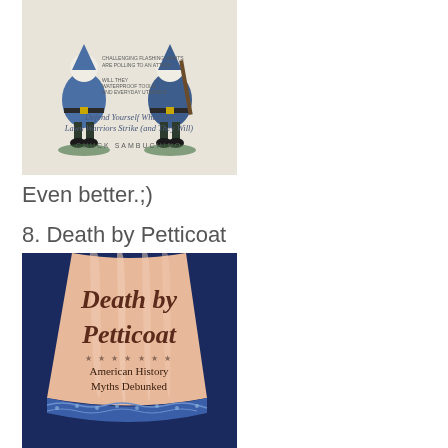[Figure (photo): Book cover showing two garden gnome figurines wearing blue outfits — one holding a rifle. Text on the cover reads 'Defend Yourself When the Lawn Warriors Strike (and They Will)' and 'CHUCK SAMBUCHINO'.]
Even better.;)
8. Death by Petticoat
[Figure (photo): Book cover for 'Death by Petticoat: American History Myths Debunked'. The cover features a peach/pink petticoat skirt with blue lace trim at the bottom, on a dark blue background. The title is written in an elegant cursive/script font.]